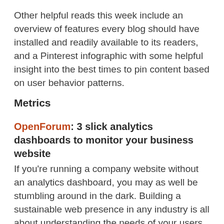Other helpful reads this week include an overview of features every blog should have installed and readily available to its readers, and a Pinterest infographic with some helpful insight into the best times to pin content based on user behavior patterns.
Metrics
OpenForum: 3 slick analytics dashboards to monitor your business website
If you're running a company website without an analytics dashboard, you may as well be stumbling around in the dark. Building a sustainable web presence in any industry is all about understanding the needs of your users and tailoring your service to fit those needs. How can you do that if you don't even know what your users are looking at or how they got to your website?